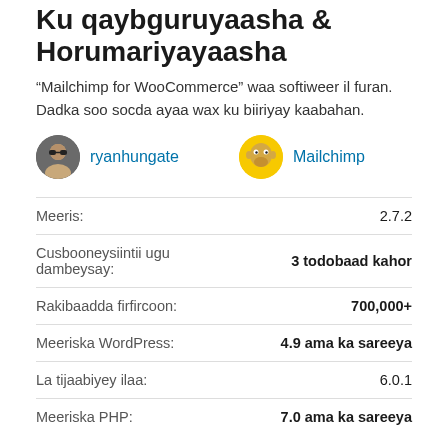Ku qaybguruyaasha & Horumariyayaasha
“Mailchimp for WooCommerce” waa softiweer il furan. Dadka soo socda ayaa wax ku biiriyay kaabahan.
ryanhungate
Mailchimp
| Label | Value |
| --- | --- |
| Meeris: | 2.7.2 |
| Cusbooneysiintii ugu dambeysay: | 3 todobaad kahor |
| Rakibaadda firfircoon: | 700,000+ |
| Meeriska WordPress: | 4.9 ama ka sareeya |
| La tijaabiyey ilaa: | 6.0.1 |
| Meeriska PHP: | 7.0 ama ka sareeya |